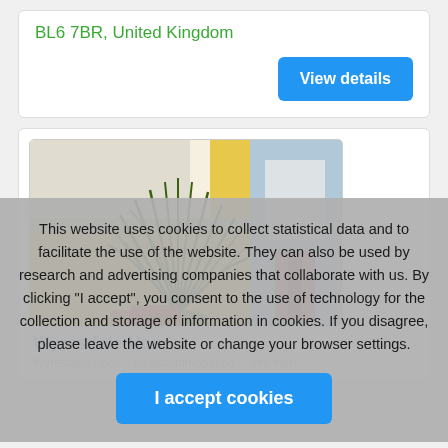BL6 7BR, United Kingdom
View details
[Figure (photo): Interior photo showing a tall green plant against a yellow wall in what appears to be a care home or facility reception area]
Wyresdale Hou...
Wyresdale Hous... its accommodation... lies from
This website uses cookies to collect statistical data and to facilitate the use of the website. They can also be used by research and advertising companies that collaborate with us. By clicking "I accept", you consent to the use of technology for the collection and storage of information in cookies. If you disagree, please leave the website or change your browser settings.
I accept cookies